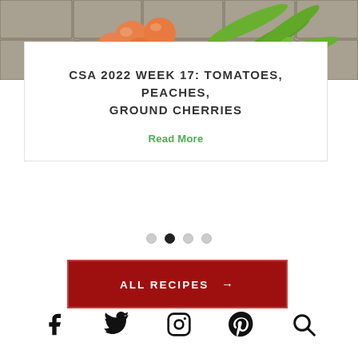[Figure (photo): Top portion of a photo showing peaches and green peppers/chilis on a stone surface]
CSA 2022 WEEK 17: TOMATOES, PEACHES, GROUND CHERRIES
Read More
[Figure (other): Carousel navigation dots: four dots, second is filled/active]
ALL RECIPES →
[Figure (other): Social media icons row: Facebook, Twitter, Instagram, Pinterest, Search]